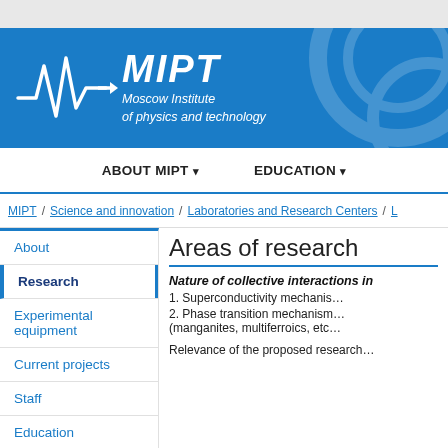[Figure (logo): MIPT logo with waveform graphic and text 'MIPT Moscow Institute of physics and technology' on blue background]
ABOUT MIPT ▾   EDUCATION ▾
MIPT / Science and innovation / Laboratories and Research Centers / L
About
Research
Experimental equipment
Current projects
Staff
Education
Areas of research
Nature of collective interactions in
1. Superconductivity mechanis…
2. Phase transition mechanism… (manganites, multiferroics, etc…
Relevance of the proposed research…